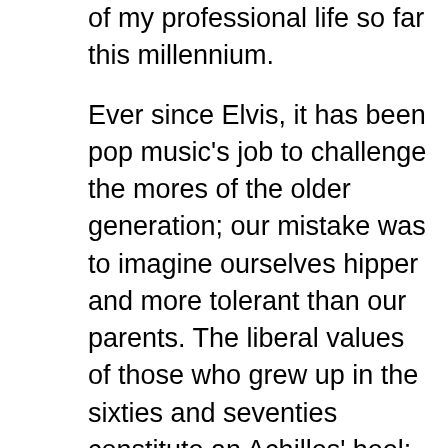of my professional life so far this millennium.

Ever since Elvis, it has been pop music's job to challenge the mores of the older generation; our mistake was to imagine ourselves hipper and more tolerant than our parents. The liberal values of those who grew up in the sixties and seventies constitute an Achilles' heel: we're not big on guns, consumerist bragging, or misogyny, and that is the ground on which Eminem and his crew choose to fight. I know when I'm beaten; I can only offer sporting congratulations and a firm handshake.